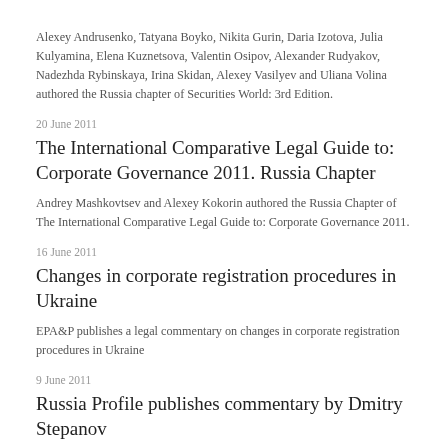Alexey Andrusenko, Tatyana Boyko, Nikita Gurin, Daria Izotova, Julia Kulyamina, Elena Kuznetsova, Valentin Osipov, Alexander Rudyakov, Nadezhda Rybinskaya, Irina Skidan, Alexey Vasilyev and Uliana Volina authored the Russia chapter of Securities World: 3rd Edition.
20 June 2011
The International Comparative Legal Guide to: Corporate Governance 2011. Russia Chapter
Andrey Mashkovtsev and Alexey Kokorin authored the Russia Chapter of The International Comparative Legal Guide to: Corporate Governance 2011.
16 June 2011
Changes in corporate registration procedures in Ukraine
EPA&P publishes a legal commentary on changes in corporate registration procedures in Ukraine
9 June 2011
Russia Profile publishes commentary by Dmitry Stepanov
The Kremlin Is Taking Steps to Guard Minority Shareholder Interests Against